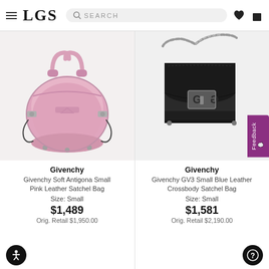LGS — Search bar — wishlist and bag icons
[Figure (photo): Givenchy Soft Antigona Small Pink Leather Satchel Bag on light background]
Givenchy
Givenchy Soft Antigona Small Pink Leather Satchel Bag
Size: Small
$1,489
Orig. Retail $1,950.00
[Figure (photo): Givenchy GV3 Small Blue Leather Crossbody Satchel Bag with chain strap on light background]
Givenchy
Givenchy GV3 Small Blue Leather Crossbody Satchel Bag
Size: Small
$1,581
Orig. Retail $2,190.00